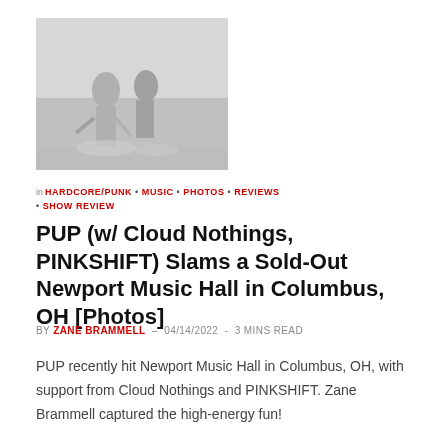[Figure (photo): Black and white concert/performance photo showing musicians on stage]
in HARDCORE/PUNK · MUSIC · PHOTOS · REVIEWS · SHOW REVIEW
PUP (w/ Cloud Nothings, PINKSHIFT) Slams a Sold-Out Newport Music Hall in Columbus, OH [Photos]
BY ZANE BRAMMELL – 04/14/2022 - 3 MINS READ
PUP recently hit Newport Music Hall in Columbus, OH, with support from Cloud Nothings and PINKSHIFT. Zane Brammell captured the high-energy fun!